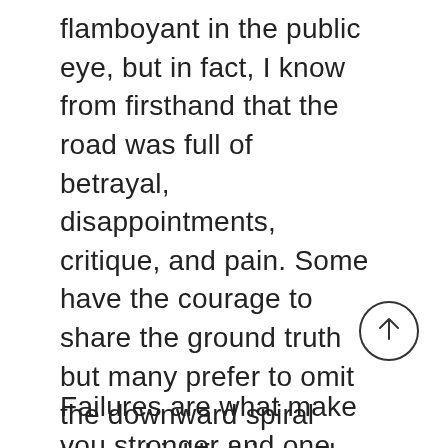flamboyant in the public eye, but in fact, I know from firsthand that the road was full of betrayal, disappointments, critique, and pain. Some have the courage to share the ground truth but many prefer to omit the downward spiral times, highlighting only achievements to be proud of instead. This can cause the wrong impression that the path to success was full of flowers.
Failures are what make you stronger and one should not be afraid of making